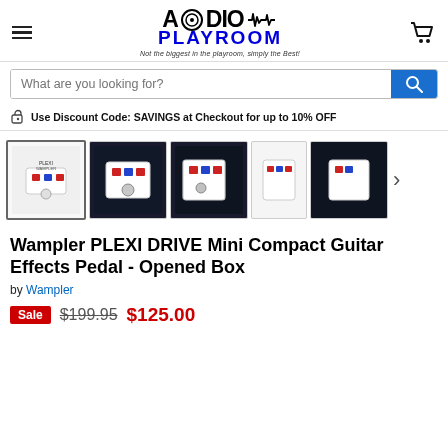[Figure (logo): Audio Playroom logo with hamburger menu and cart icon in header]
[Figure (screenshot): Search bar with placeholder text and blue search button]
Use Discount Code: SAVINGS at Checkout for up to 10% OFF
[Figure (photo): Product thumbnail gallery showing Wampler Plexi Drive Mini pedal from multiple angles, with navigation arrow]
Wampler PLEXI DRIVE Mini Compact Guitar Effects Pedal - Opened Box
by Wampler
Sale $199.95 $125.00